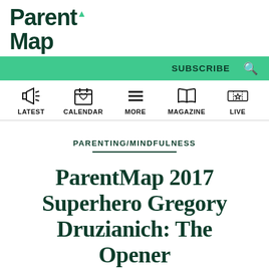ParentMap
SUBSCRIBE
LATEST | CALENDAR | MORE | MAGAZINE | LIVE
PARENTING/MINDFULNESS
ParentMap 2017 Superhero Gregory Druzianich: The Opener